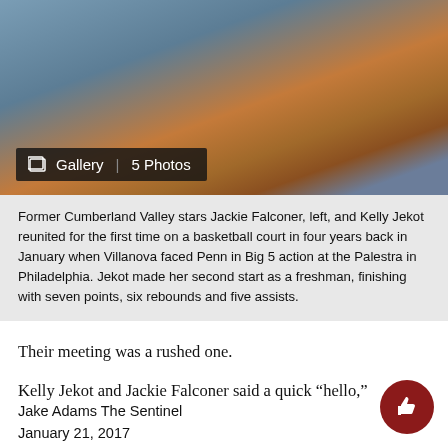[Figure (photo): Two basketball players in a gym, one wearing a Penn BASKETBALL shirt, the other in a dark Nike vest. A basketball court and arena seating visible in background.]
Former Cumberland Valley stars Jackie Falconer, left, and Kelly Jekot reunited for the first time on a basketball court in four years back in January when Villanova faced Penn in Big 5 action at the Palestra in Philadelphia. Jekot made her second start as a freshman, finishing with seven points, six rebounds and five assists.
Jake Adams The Sentinel
January 21, 2017
Their meeting was a rushed one.
Kelly Jekot and Jackie Falconer said a quick “hello,”